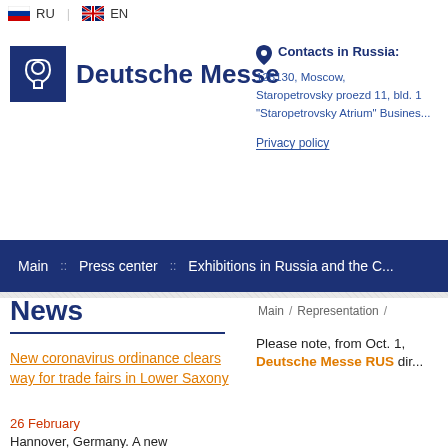RU | EN language switcher
[Figure (logo): Deutsche Messe logo - blue box with stylized face profile icon and 'Deutsche Messe' text in dark blue]
Contacts in Russia:
125130, Moscow,
Staropetrovsky proezd 11, bld. 1
"Staropetrovsky Atrium" Business
Privacy policy
Main  ::  Press center  ::  Exhibitions in Russia and the C...
Main / Representation /
News
New coronavirus ordinance clears way for trade fairs in Lower Saxony
26 February
Hannover, Germany. A new
Please note, from Oct. 1,
Deutsche Messe RUS di...